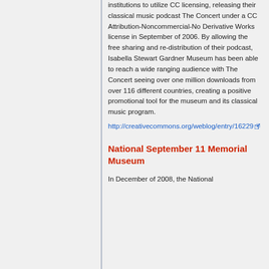institutions to utilize CC licensing, releasing their classical music podcast The Concert under a CC Attribution-Noncommercial-No Derivative Works license in September of 2006. By allowing the free sharing and re-distribution of their podcast, Isabella Stewart Gardner Museum has been able to reach a wide ranging audience with The Concert seeing over one million downloads from over 116 different countries, creating a positive promotional tool for the museum and its classical music program.
http://creativecommons.org/weblog/entry/16229
National September 11 Memorial Museum
In December of 2008, the National